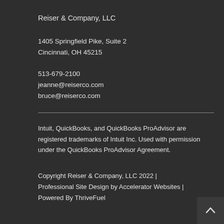Reiser & Company, LLC
1405 Springfield Pike, Suite 2
Cincinnati, OH 45215
513-679-2100
jeanne@reiserco.com
bruce@reiserco.com
Intuit, QuickBooks, and QuickBooks ProAdvisor are registered trademarks of Intuit Inc. Used with permission under the QuickBooks ProAdvisor Agreement.
Copyright Reiser & Company, LLC 2022 | Professional Site Design by Accelerator Websites | Powered By ThriveFuel